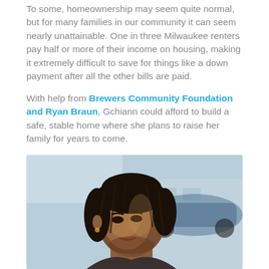To some, homeownership may seem quite normal, but for many families in our community it can seem nearly unattainable. One in three Milwaukee renters pay half or more of their income on housing, making it extremely difficult to save for things like a down payment after all the other bills are paid.
With help from Brewers Community Foundation and Ryan Braun, Gchiann could afford to build a safe, stable home where she plans to raise her family for years to come.
Like, love and share photos from her dedication.
[Figure (photo): Close-up photo of a young Black woman with braided hair, looking off to the side. A car and building are visible in the blurred background.]